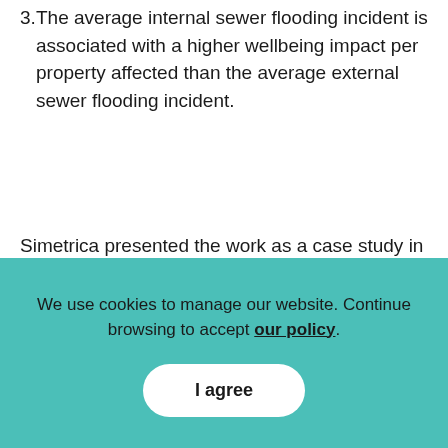3. The average internal sewer flooding incident is associated with a higher wellbeing impact per property affected than the average external sewer flooding incident.
Simetrica presented the work as a case study in a cross Whitehall roundtable meeting organised by HM Treasury in connection with the launch of its new Green Book guidance on policy appraisal. The final report has been used within Anglian Water to shape their future investment plans presented to Anglian Water's Customer Engagement
We use cookies to manage our website. Continue browsing to accept our policy.